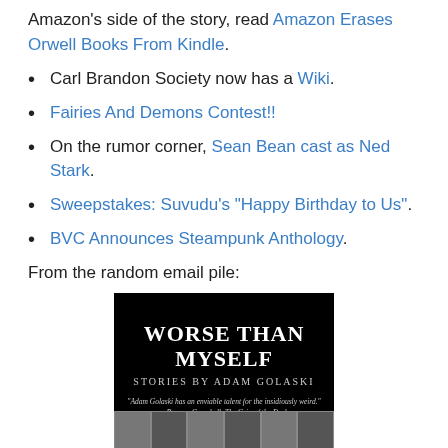Amazon's side of the story, read Amazon Erases Orwell Books From Kindle.
Carl Brandon Society now has a Wiki.
Fairies And Demons Contest!!
On the rumor corner, Sean Bean cast as Ned Stark.
Sweepstakes: Suvudu's "Happy Birthday to Us".
BVC Announces Steampunk Anthology.
From the random email pile:
[Figure (photo): Book cover image for 'Worse Than Myself: Stories by Adam Golaski' — black background with white serif title text, subtitle in spaced caps, a quote attributed to Ramsey Campbell, and a bottom section with a textured/grid image.]